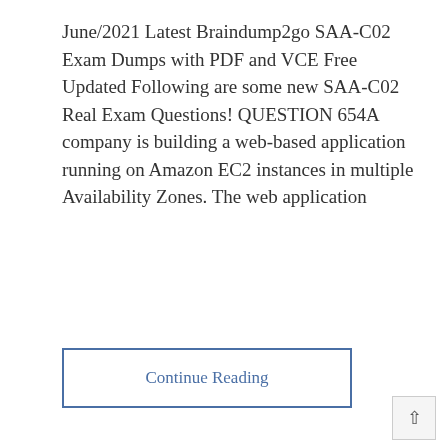June/2021 Latest Braindump2go SAA-C02 Exam Dumps with PDF and VCE Free Updated Following are some new SAA-C02 Real Exam Questions! QUESTION 654A company is building a web-based application running on Amazon EC2 instances in multiple Availability Zones. The web application
Continue Reading
Amazon, SAA-C02 Exam Dumps, SAA-C02 Exam Questions, SAA-C02 PDF Dumps, SAA-C02 VCE Dumps ♦ Braindump2go SAA-C02 Dumps, SAA-C02 Dumps PDF, SAA-C02 Dumps VCE, SAA-C02 Exam Dumps, SAA-C02 Exam Questions, SAA-C02 PDF Dumps, SAA-C02 VCE Dumps